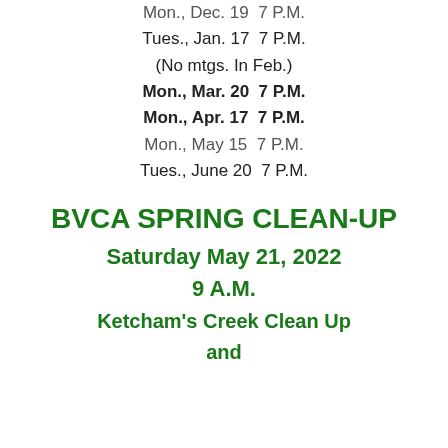Mon., Dec. 19  7 P.M.
Tues., Jan. 17  7 P.M.
(No mtgs. In Feb.)
Mon., Mar. 20  7 P.M.
Mon., Apr. 17  7 P.M.
Mon., May 15  7 P.M.
Tues., June 20  7 P.M.
BVCA SPRING CLEAN-UP
Saturday May 21, 2022
9 A.M.
Ketcham's Creek Clean Up
and